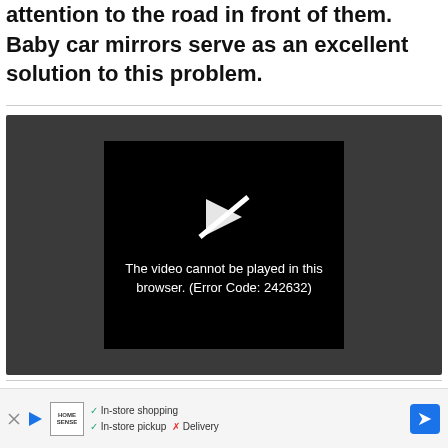attention to the road in front of them. Baby car mirrors serve as an excellent solution to this problem.
[Figure (screenshot): Video player error screen. Dark gray outer background with a centered black panel showing a broken/crossed-out play button icon and text: 'The video cannot be played in this browser. (Error Code: 242632)']
These R... y into your car...